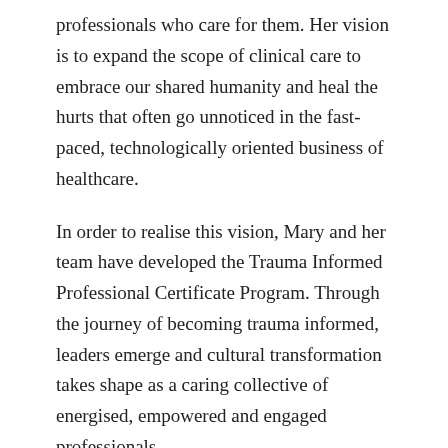professionals who care for them. Her vision is to expand the scope of clinical care to embrace our shared humanity and heal the hurts that often go unnoticed in the fast-paced, technologically oriented business of healthcare.
In order to realise this vision, Mary and her team have developed the Trauma Informed Professional Certificate Program. Through the journey of becoming trauma informed, leaders emerge and cultural transformation takes shape as a caring collective of energised, empowered and engaged professionals.
In this interview we explored Mary's amazing story of how and when she came to realise her true calling. Mary tells the story of the 'conception' of her business idea in such a beautiful way, retelling the pivotal